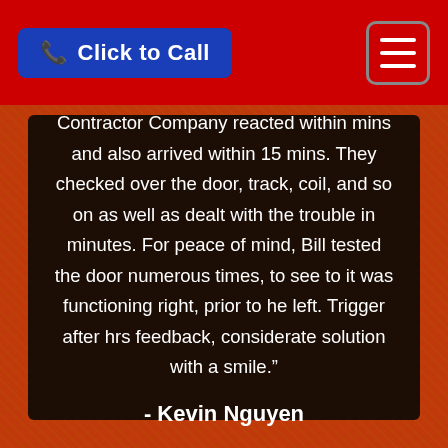Click to Call
Contractor Company reacted within mins and also arrived within 15 mins. They checked over the door, track, coil, and so on as well as dealt with the trouble in minutes. For peace of mind, Bill tested the door numerous times, to see to it was functioning right, prior to he left. Trigger after hrs feedback, considerate solution with a smile."
- Kevin Nguyen